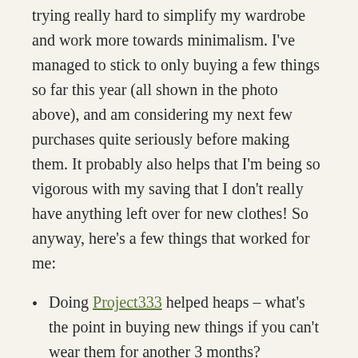trying really hard to simplify my wardrobe and work more towards minimalism. I've managed to stick to only buying a few things so far this year (all shown in the photo above), and am considering my next few purchases quite seriously before making them. It probably also helps that I'm being so vigorous with my saving that I don't really have anything left over for new clothes! So anyway, here's a few things that worked for me:
Doing Project333 helped heaps – what's the point in buying new things if you can't wear them for another 3 months?
Unsubscribing from all the (many) shop mailing lists I had invading my mailbox every day. Email and shopping minimalism in one go.
Deciding to no longer buy shoes or clothes online